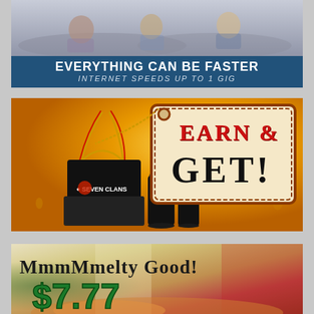[Figure (photo): People sitting on a couch, partial view — advertisement photo for internet service]
EVERYTHING CAN BE FASTER
INTERNET SPEEDS UP TO 1 GIG
[Figure (photo): Earn & Get promotional banner with yellow water-drop background, gift bag, black boxes with Seven Clans logo, tumblers, and a price-tag shape with text EARN & GET!]
[Figure (photo): Mmmmelty Good food promotional banner with $7.77 price, Italian flag color background, food visible at bottom]